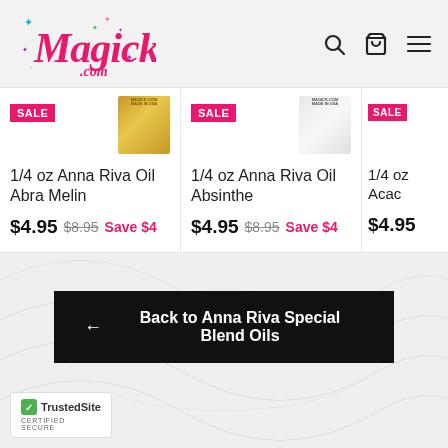Magick.com
[Figure (screenshot): Product card: 1/4 oz Anna Riva Oil Abra Melin, SALE badge, $4.95 sale price, $8.95 original, Save $4]
[Figure (screenshot): Product card: 1/4 oz Anna Riva Oil Absinthe, SALE badge, $4.95 sale price, $8.95 original, Save $4]
[Figure (screenshot): Product card: 1/4 oz Anna Riva Oil Acac... (partially visible), SALE badge, $4.95 price]
← Back to Anna Riva Special Blend Oils
[Figure (logo): TrustedSite CERTIFIED SECURE badge]